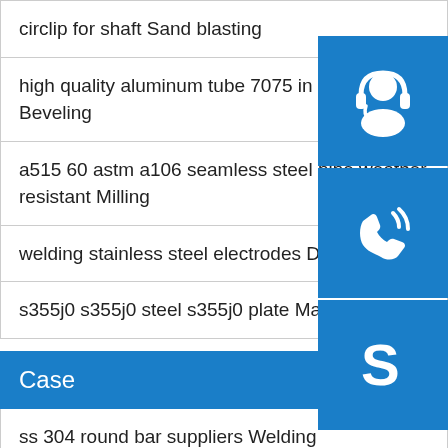circlip for shaft Sand blasting
high quality aluminum tube 7075 in hot sellig Beveling
a515 60 astm a106 seamless steel pipe weather resistant Milling
welding stainless steel electrodes Decoiling
s355j0 s355j0 steel s355j0 plate Machining
Case
ss 304 round bar suppliers Welding
sharpy light price 316l stainless steel pipe mirror polish Beveling